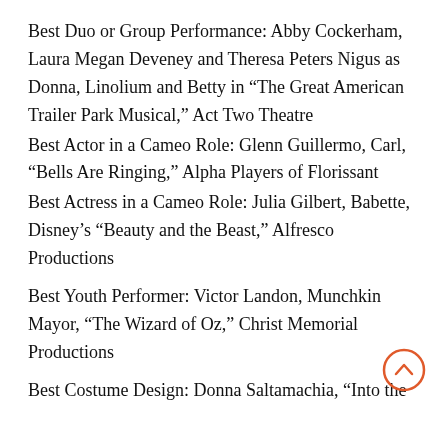Best Duo or Group Performance: Abby Cockerham, Laura Megan Deveney and Theresa Peters Nigus as Donna, Linolium and Betty in “The Great American Trailer Park Musical,” Act Two Theatre
Best Actor in a Cameo Role: Glenn Guillermo, Carl, “Bells Are Ringing,” Alpha Players of Florissant
Best Actress in a Cameo Role: Julia Gilbert, Babette, Disney’s “Beauty and the Beast,” Alfresco Productions
Best Youth Performer: Victor Landon, Munchkin Mayor, “The Wizard of Oz,” Christ Memorial Productions
Best Costume Design: Donna Saltamachia, “Into the